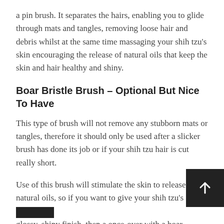a pin brush. It separates the hairs, enabling you to glide through mats and tangles, removing loose hair and debris whilst at the same time massaging your shih tzu’s skin encouraging the release of natural oils that keep the skin and hair healthy and shiny.
Boar Bristle Brush – Optional But Nice To Have
This type of brush will not remove any stubborn mats or tangles, therefore it should only be used after a slicker brush has done its job or if your shih tzu hair is cut really short.
Use of this brush will stimulate the skin to release its natural oils, so if you want to give your shih tzu’s coat a glossy, shiny finish, then a once-over with a boar bristle brush will do the job. Generally, shih tzu love the feel of